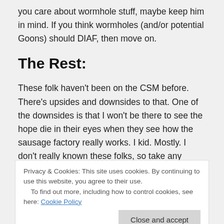you care about wormhole stuff, maybe keep him in mind. If you think wormholes (and/or potential Goons) should DIAF, then move on.
The Rest:
These folk haven't been on the CSM before. There's upsides and downsides to that. One of the downsides is that I won't be there to see the hope die in their eyes when they see how the sausage factory really works. I kid. Mostly. I don't really known these folks, so take any recommendations with a dose of salt. Do some research, if you can.
Insidious Sainthood – Small gang/Solo PVP advocate. While fleet combat and small gang are different, having one can destroy the other. Always handy for an alternate. Keep an eye on them for FW too.
Privacy & Cookies: This site uses cookies. By continuing to use this website, you agree to their use. To find out more, including how to control cookies, see here: Cookie Policy
January Valentine – Community type. Which can be handy, as part of the CSM job is keeping a finger on community sentiment